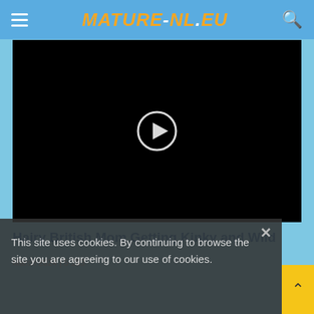MATURE-NL.EU
[Figure (screenshot): Black video player with circular play button in the center]
Hairy British Mom Getting Kinky and Wild
March 2024 | 5 163
This site uses cookies. By continuing to browse the site you are agreeing to our use of cookies.